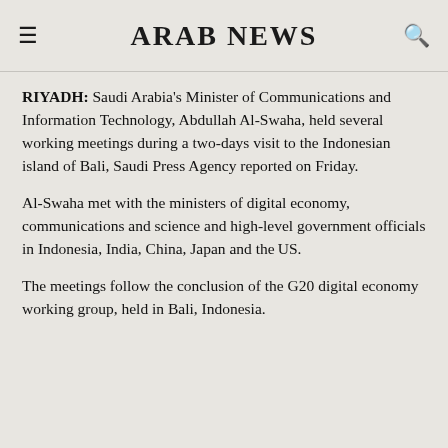ARAB NEWS
RIYADH: Saudi Arabia’s Minister of Communications and Information Technology, Abdullah Al-Swaha, held several working meetings during a two-days visit to the Indonesian island of Bali, Saudi Press Agency reported on Friday.
Al-Swaha met with the ministers of digital economy, communications and science and high-level government officials in Indonesia, India, China, Japan and the​US.
The meetings follow the conclusion of the G20 digital economy working group, held in Bali, Indonesia.